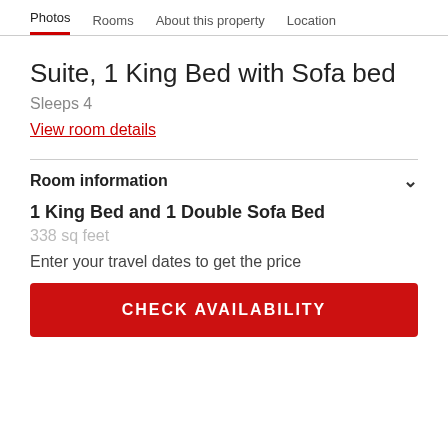Photos  Rooms  About this property  Location
Suite, 1 King Bed with Sofa bed
Sleeps 4
View room details
Room information
1 King Bed and 1 Double Sofa Bed
338 sq feet
Enter your travel dates to get the price
CHECK AVAILABILITY